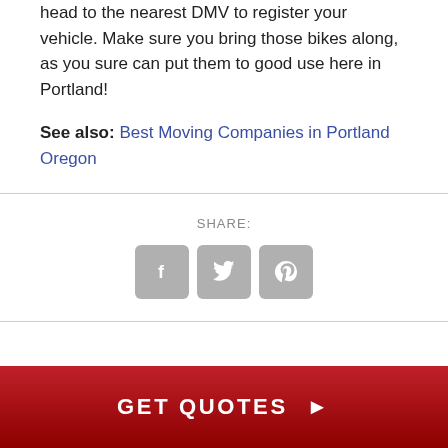head to the nearest DMV to register your vehicle. Make sure you bring those bikes along, as you sure can put them to good use here in Portland!
See also: Best Moving Companies in Portland Oregon
SHARE:
[Figure (infographic): Three social sharing icon buttons: Facebook (f), Twitter (bird), Pinterest (p), shown as rounded square grey buttons]
GET QUOTES ▶